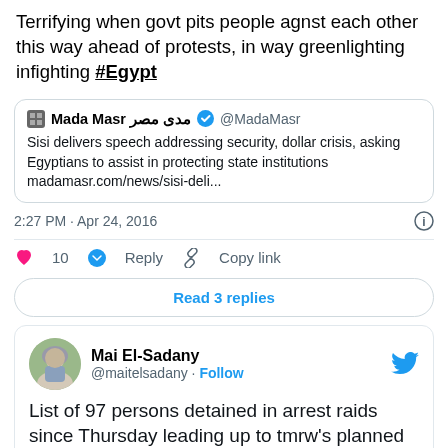Terrifying when govt pits people agnst each other this way ahead of protests, in way greenlighting infighting #Egypt
Mada Masr مدى مصر @MadaMasr — Sisi delivers speech addressing security, dollar crisis, asking Egyptians to assist in protecting state institutions madamasr.com/news/sisi-deli...
2:27 PM · Apr 24, 2016
10  Reply  Copy link
Read 3 replies
Mai El-Sadany @maitelsadany · Follow
List of 97 persons detained in arrest raids since Thursday leading up to tmrw's planned